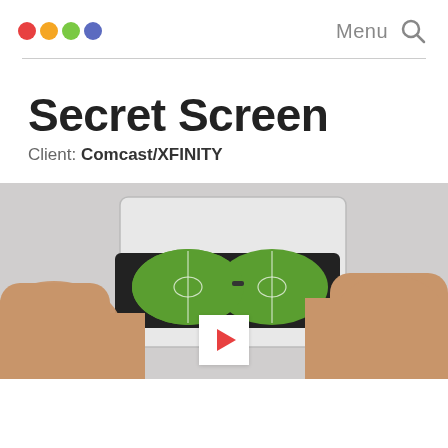DEEP (logo) | Menu (search icon)
Secret Screen
Client: Comcast/XFINITY
[Figure (photo): Hands holding sunglasses in front of a tablet screen showing a soccer field, with a play button overlay at the bottom center]